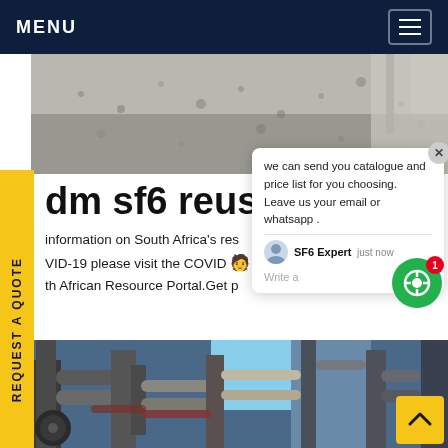MENU
[Figure (photo): Top aerial or ground-level photo of gravel/industrial surface with concrete structure]
REQUEST A QUOTE
dm sf6 reuse in N
information on South Africa's res COVID-19 please visit the COVID th African Resource Portal.Get p
[Figure (screenshot): Chat popup widget with message: we can send you catalogue and price list for you choosing. Leave us your email or whatsapp. SF6 Expert, just now. Write a [thumbs up] [paperclip] icons]
[Figure (photo): Bottom photo of industrial pipes and scaffolding at an industrial facility with blue sky]